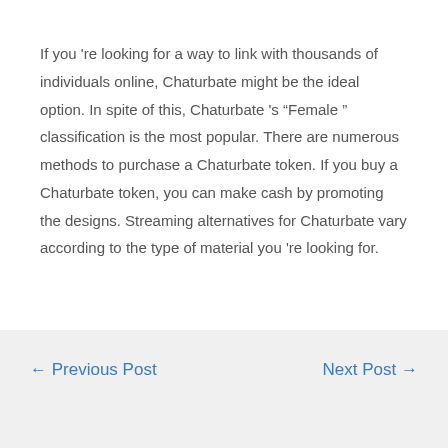If you 're looking for a way to link with thousands of individuals online, Chaturbate might be the ideal option. In spite of this, Chaturbate 's “Female ” classification is the most popular. There are numerous methods to purchase a Chaturbate token. If you buy a Chaturbate token, you can make cash by promoting the designs. Streaming alternatives for Chaturbate vary according to the type of material you 're looking for.
← Previous Post   Next Post →